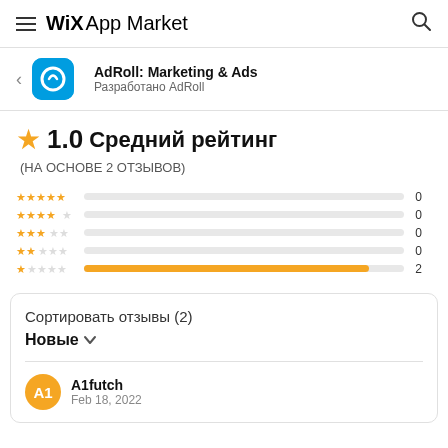WiX App Market
AdRoll: Marketing & Ads
Разработано AdRoll
1.0 Средний рейтинг
(НА ОСНОВЕ 2 ОТЗЫВОВ)
[Figure (bar-chart): Rating distribution]
Сортировать отзывы (2)
Новые
A1futch
Feb 18, 2022